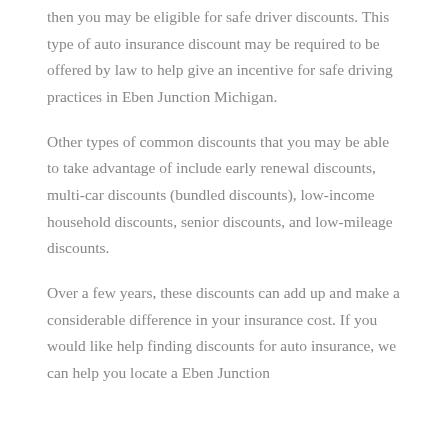then you may be eligible for safe driver discounts. This type of auto insurance discount may be required to be offered by law to help give an incentive for safe driving practices in Eben Junction Michigan.
Other types of common discounts that you may be able to take advantage of include early renewal discounts, multi-car discounts (bundled discounts), low-income household discounts, senior discounts, and low-mileage discounts.
Over a few years, these discounts can add up and make a considerable difference in your insurance cost. If you would like help finding discounts for auto insurance, we can help you locate a Eben Junction